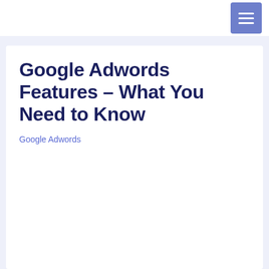Google Adwords Features – What You Need to Know
Google Adwords